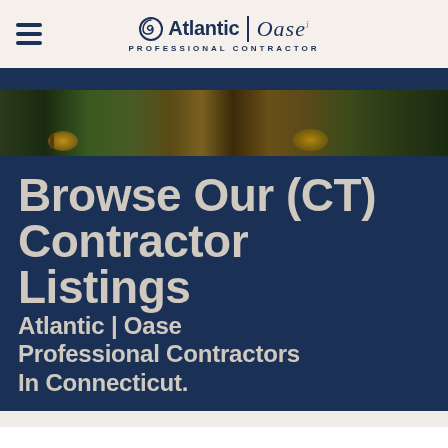Atlantic | Oase Professional Contractor
[Figure (photo): Outdoor patio scene at dusk with illuminated water feature, chairs, and lush greenery]
Browse Our (CT) Contractor Listings
Atlantic | Oase Professional Contractors In Connecticut.